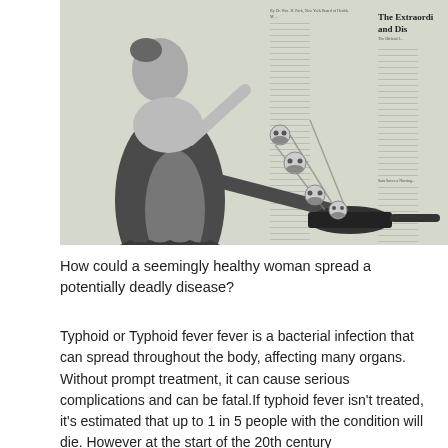[Figure (illustration): A historical newspaper illustration showing a woman cooking with skulls flying out of a pan, referencing Typhoid Mary and the spread of disease through cooking. A newspaper background with columns of text and the headline 'The Extraordi and Dis' is visible behind the woman.]
How could a seemingly healthy woman spread a potentially deadly disease?
Typhoid or Typhoid fever fever is a bacterial infection that can spread throughout the body, affecting many organs. Without prompt treatment, it can cause serious complications and can be fatal.If typhoid fever isn't treated, it's estimated that up to 1 in 5 people with the condition will die. However at the start of the 20th century